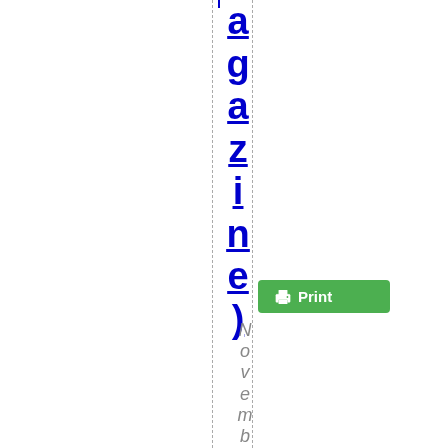agazine)
[Figure (screenshot): Green Print button with printer icon]
November